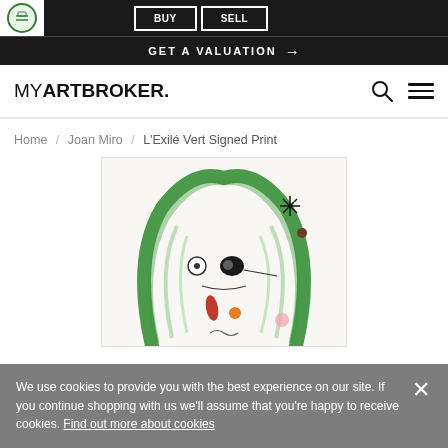BUY  SELL
GET A VALUATION →
MYARTBROKER.
Home / Joan Miro / L'Exilé Vert Signed Print
[Figure (illustration): Joan Miro artwork 'L'Exilé Vert Signed Print' showing a green abstract figure with black eyes, a star-like asterisk symbol, red and orange teardrop shapes, on a light background.]
We use cookies to provide you with the best experience on our site. If you continue shopping with us we'll assume that you're happy to receive cookies. Find out more about cookies